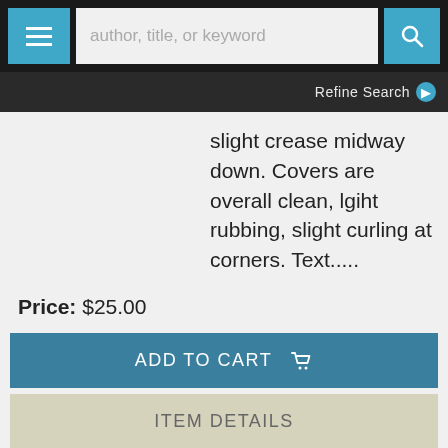[Figure (screenshot): Website navigation bar with hamburger menu button, search input field placeholder 'author, title, or keyword', and search icon button]
Refine Search ▶
slight crease midway down. Covers are overall clean, lgiht rubbing, slight curling at corners. Text.....
Price: $25.00
ADD TO CART 🛒
ITEM DETAILS
Albert Cook
DELAYED ANSWERS: POEMS
US: Edwin Mellen Pr, 1992. Paperback,